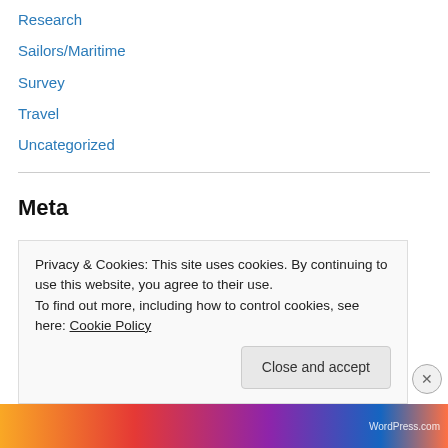Research
Sailors/Maritime
Survey
Travel
Uncategorized
Meta
Register
Log in
Entries feed
Comments feed
WordPress.com
Privacy & Cookies: This site uses cookies. By continuing to use this website, you agree to their use.
To find out more, including how to control cookies, see here: Cookie Policy
Close and accept